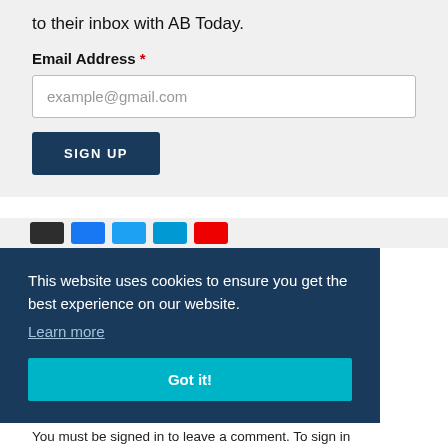to their inbox with AB Today.
Email Address *
example@gmail.com
SIGN UP
This website uses cookies to ensure you get the best experience on our website.
Learn more
Got it!
You must be signed in to leave a comment. To sign in